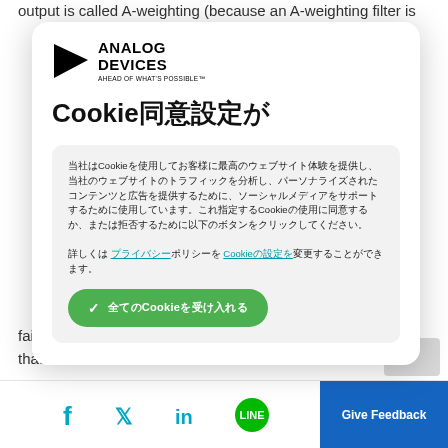output is called A-weighting (because an A-weighting filter is
[Figure (screenshot): Cookie consent modal overlay from Analog Devices website, showing Analog Devices logo, Cookie consent title in Japanese/Chinese characters, body text about cookies in Japanese/Chinese with links, and a green accept button with checkmark]
fair comparison of two converters, one has to make sure that these test conditions are similar for both.
[Figure (screenshot): Social sharing bar with Facebook, Twitter, LinkedIn, LINE icons and blue Give Feedback button]